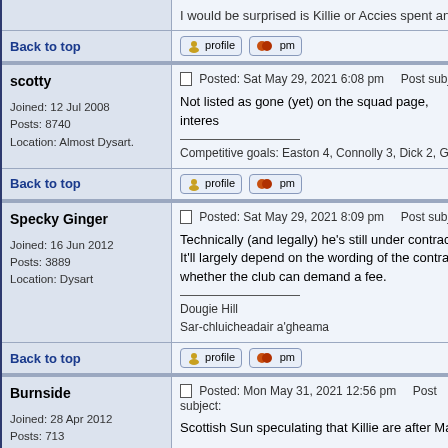I would be surprised is Killie or Accies spent any m...
Back to top [profile] [pm]
scotty
Joined: 12 Jul 2008
Posts: 8740
Location: Almost Dysart.
Posted: Sat May 29, 2021 6:08 pm   Post subject:
Not listed as gone (yet) on the squad page, interes...
Competitive goals: Easton 4, Connolly 3, Dick 2, G...
Back to top [profile] [pm]
Specky Ginger
Joined: 16 Jun 2012
Posts: 3889
Location: Dysart
Posted: Sat May 29, 2021 8:09 pm   Post subject:
Technically (and legally) he's still under contract at...
It'll largely depend on the wording of the contract i...
whether the club can demand a fee.
Dougie Hill
Sar-chluicheadair a'gheama
Back to top [profile] [pm]
Burnside
Joined: 28 Apr 2012
Posts: 713
Location: East Neuk
Posted: Mon May 31, 2021 12:56 pm   Post subject:
Scottish Sun speculating that Killie are after Macc...